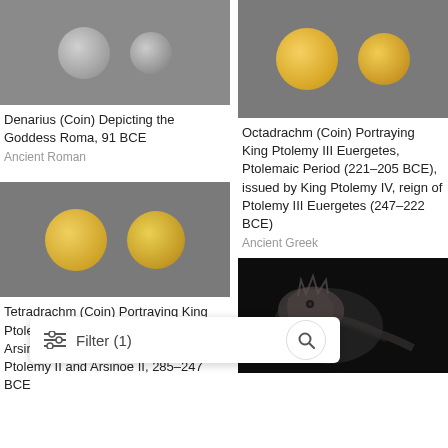[Figure (photo): Two silver Roman coins (Denarius) on gray background]
Denarius (Coin) Depicting the Goddess Roma, 91 BCE
Ancient Roman
[Figure (photo): Two gold Ptolemaic coins on gray background - Octadrachm portraying King Ptolemy III]
Octadrachm (Coin) Portraying King Ptolemy III Euergetes, Ptolemaic Period (221–205 BCE), issued by King Ptolemy IV, reign of Ptolemy III Euergetes (247–222 BCE)
Ancient Greek
[Figure (photo): Two large gold coins (Tetradrachm) with portrait profiles on gray background]
Tetradrachm (Coin) Portraying King Ptolemy II Philadelphos and Queen Arsinoe BCE, issued by King reign of Ptolemy II and Arsinoe II, 285–247 BCE
[Figure (photo): Dark background with ceramic or stone dragon/animal sculpture fragment]
Filter (1)